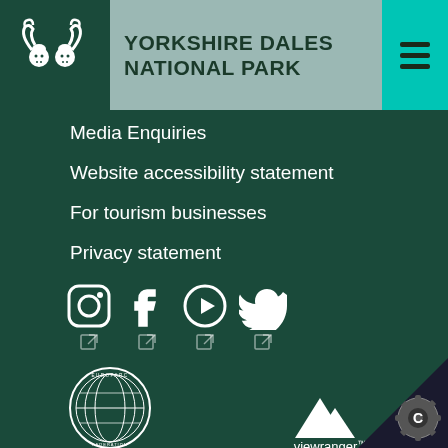YORKSHIRE DALES NATIONAL PARK
Media Enquiries
Website accessibility statement
For tourism businesses
Privacy statement
[Figure (logo): Social media icons: Instagram, Facebook, YouTube, Twitter with external link icons below each]
[Figure (logo): Europarc Federation circular logo with map of Europe and text around the border]
[Figure (logo): Viewranger logo with mountain peaks icon and 'viewranger' text with trademark symbol]